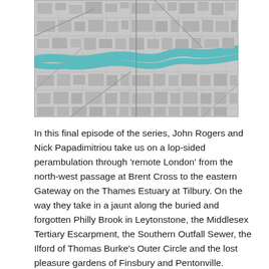[Figure (map): Aerial/satellite-style monochrome map of London with the River Thames highlighted in teal/cyan running through the centre]
In this final episode of the series, John Rogers and Nick Papadimitriou take us on a lop-sided perambulation through 'remote London' from the north-west passage at Brent Cross to the eastern Gateway on the Thames Estuary at Tilbury. On the way they take in a jaunt along the buried and forgotten Philly Brook in Leytonstone, the Middlesex Tertiary Escarpment, the Southern Outfall Sewer, the Ilford of Thomas Burke's Outer Circle and the lost pleasure gardens of Finsbury and Pentonville.
With music by Europa51 and readings by Heidi Lapaine from The Arcades Project by Walter Benjamin, The Outer Circle: